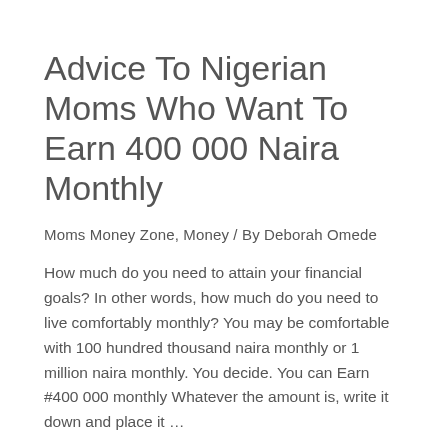Advice To Nigerian Moms Who Want To Earn 400 000 Naira Monthly
Moms Money Zone, Money / By Deborah Omede
How much do you need to attain your financial goals? In other words, how much do you need to live comfortably monthly? You may be comfortable with 100 hundred thousand naira monthly or 1 million naira monthly. You decide. You can Earn #400 000 monthly Whatever the amount is, write it down and place it …
Read More »